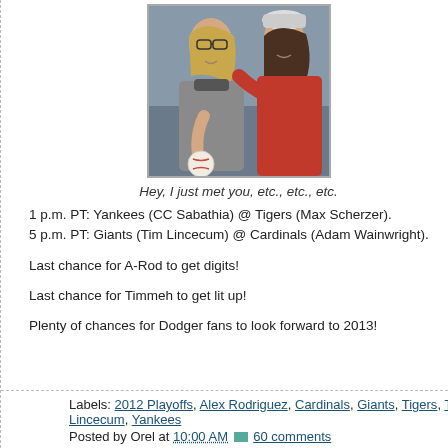[Figure (photo): Two women, one holding a baseball, smiling outdoors. One in gray and one in red coat.]
Hey, I just met you, etc., etc., etc.
1 p.m. PT: Yankees (CC Sabathia) @ Tigers (Max Scherzer).
5 p.m. PT: Giants (Tim Lincecum) @ Cardinals (Adam Wainwright).
Last chance for A-Rod to get digits!
Last chance for Timmeh to get lit up!
Plenty of chances for Dodger fans to look forward to 2013!
Labels: 2012 Playoffs, Alex Rodriguez, Cardinals, Giants, Tigers, Tim Lincecum, Yankees
Posted by Orel at 10:00 AM  60 comments